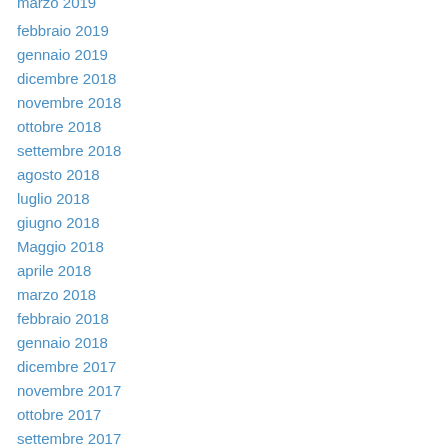marzo 2019
febbraio 2019
gennaio 2019
dicembre 2018
novembre 2018
ottobre 2018
settembre 2018
agosto 2018
luglio 2018
giugno 2018
Maggio 2018
aprile 2018
marzo 2018
febbraio 2018
gennaio 2018
dicembre 2017
novembre 2017
ottobre 2017
settembre 2017
agosto 2017
luglio 2017